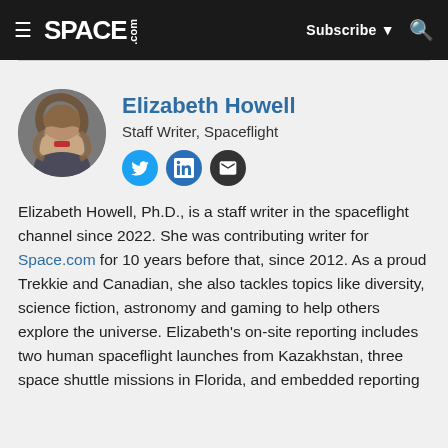SPACE.com — Subscribe — Search
Elizabeth Howell
Staff Writer, Spaceflight
[Figure (photo): Circular profile photo of Elizabeth Howell outdoors in winter clothing]
Elizabeth Howell, Ph.D., is a staff writer in the spaceflight channel since 2022. She was contributing writer for Space.com for 10 years before that, since 2012. As a proud Trekkie and Canadian, she also tackles topics like diversity, science fiction, astronomy and gaming to help others explore the universe. Elizabeth's on-site reporting includes two human spaceflight launches from Kazakhstan, three space shuttle missions in Florida, and embedded reporting